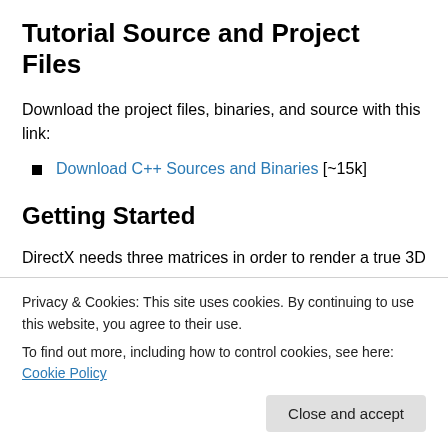Tutorial Source and Project Files
Download the project files, binaries, and source with this link:
Download C++ Sources and Binaries [~15k]
Getting Started
DirectX needs three matrices in order to render a true 3D
Privacy & Cookies: This site uses cookies. By continuing to use this website, you agree to their use.
To find out more, including how to control cookies, see here: Cookie Policy
just skip it.